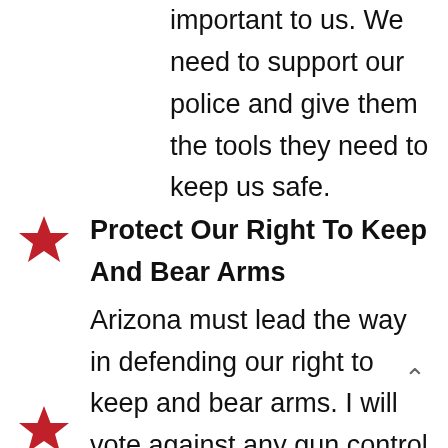important to us. We need to support our police and give them the tools they need to keep us safe.
Protect Our Right To Keep And Bear Arms
Arizona must lead the way in defending our right to keep and bear arms. I will vote against any gun control measure or gun ban. We need more guns, fewer gun-free zones, and stronger protections for gun owners.